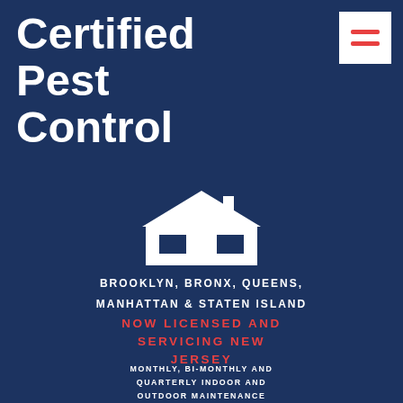Certified Pest Control
[Figure (illustration): White house/home silhouette icon on dark blue background]
BROOKLYN, BRONX, QUEENS, MANHATTAN & STATEN ISLAND
NOW LICENSED AND SERVICING NEW JERSEY
MONTHLY, BI-MONTHLY AND QUARTERLY INDOOR AND OUTDOOR MAINTENANCE PROGRAMS AVAILABLE.
QUALITY GUARANTEED SERVICE